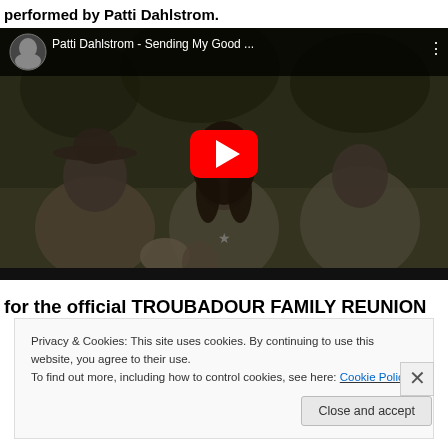performed by Patti Dahlstrom.
[Figure (screenshot): YouTube video thumbnail showing a black and white/sepia photo of three people outdoors. Title bar reads 'Patti Dahlstrom - Sending My Good ...' with a circular profile photo of Patti Dahlstrom and a red YouTube play button in the center.]
for the official TROUBADOUR FAMILY REUNION
Privacy & Cookies: This site uses cookies. By continuing to use this website, you agree to their use.
To find out more, including how to control cookies, see here: Cookie Policy
Close and accept